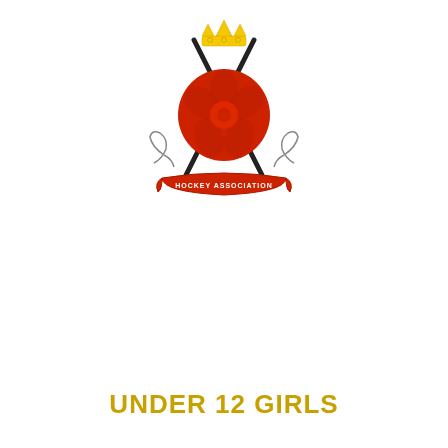[Figure (logo): Hockey Association crest/logo: a yellow crown at top, two crossed hockey sticks behind a large red rose/ball, decorative scroll flourishes on either side, and a red banner ribbon at the bottom reading 'HOCKEY ASSOCIATION' in small text.]
UNDER 12 GIRLS